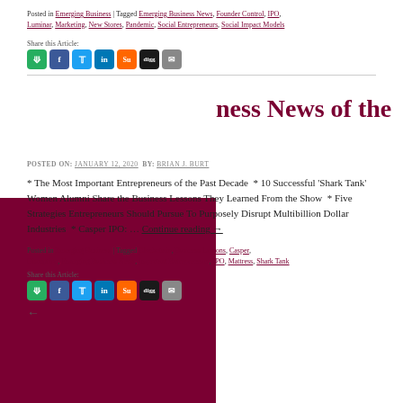Posted in Emerging Business | Tagged Emerging Business News, Founder Control, IPO, Luminar, Marketing, New Stores, Pandemic, Social Entrepreneurs, Social Impact Models
Share this Article:
[Figure (other): Social share icons: share, Facebook, Twitter, LinkedIn, StumbleUpon, Digg, Email]
ness News of the
POSTED ON: JANUARY 12, 2020  BY: BRIAN J. BURT
* The Most Important Entrepreneurs of the Past Decade  * 10 Successful 'Shark Tank' Women Alumni Share the Business Lessons They Learned From the Show  * Five Strategies Entrepreneurs Should Pursue To Purposely Disrupt Multibillion Dollar Industries  * Casper IPO: … Continue reading →
Posted in Emerging Business | Tagged Blockchain, Business Lessons, Casper, Disruption, Emerging Business News, Important Entrepreneurs, IPO, Mattress, Shark Tank
Share this Article:
[Figure (other): Social share icons: share, Facebook, Twitter, LinkedIn, StumbleUpon, Digg, Email]